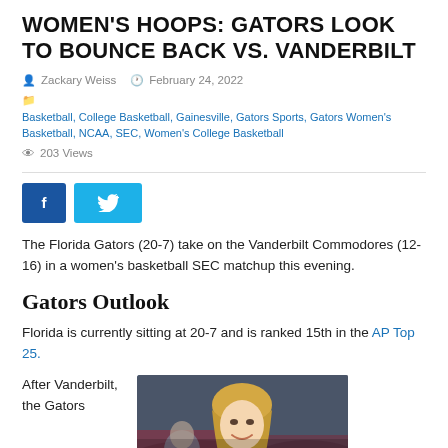WOMEN'S HOOPS: GATORS LOOK TO BOUNCE BACK VS. VANDERBILT
Zackary Weiss   February 24, 2022
Basketball, College Basketball, Gainesville, Gators Sports, Gators Women's Basketball, NCAA, SEC, Women's College Basketball
203 Views
[Figure (other): Facebook and Twitter social share buttons]
The Florida Gators (20-7) take on the Vanderbilt Commodores (12-16) in a women's basketball SEC matchup this evening.
Gators Outlook
Florida is currently sitting at 20-7 and is ranked 15th in the AP Top 25.
After Vanderbilt, the Gators
[Figure (photo): Photo of a smiling woman with blonde hair, possibly a basketball coach or player, with a crowd in the background]